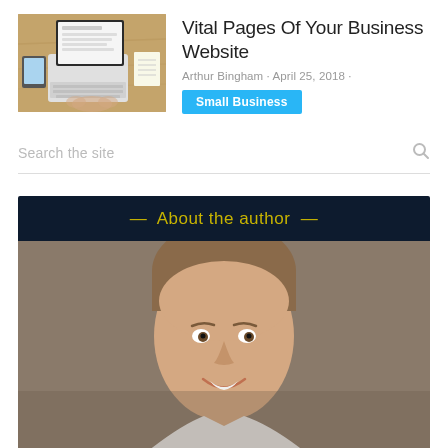[Figure (photo): Thumbnail image of person working on a laptop from above, with a tablet and notepad on a wooden desk]
Vital Pages Of Your Business Website
Arthur Bingham · April 25, 2018 ·
Small Business
Search the site
[Figure (photo): About the author section with a header banner and a portrait photo of a middle-aged man with short gray-brown hair smiling]